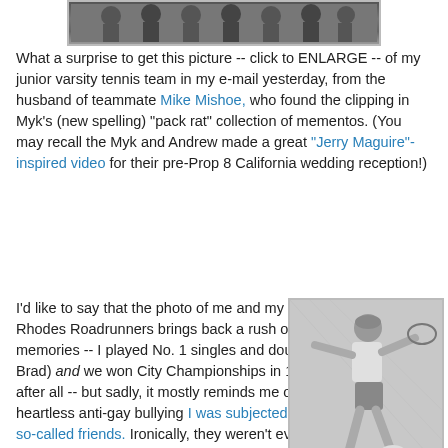[Figure (photo): Partial view of a group team photo, cropped at top]
What a surprise to get this picture -- click to ENLARGE -- of my junior varsity tennis team in my e-mail yesterday, from the husband of teammate Mike Mishoe, who found the clipping in Myk's (new spelling) "pack rat" collection of mementos. (You may recall the Myk and Andrew made a great "Jerry Maguire"-inspired video for their pre-Prop 8 California wedding reception!)
I'd like to say that the photo of me and my fellow Rhodes Roadrunners brings back a rush of good memories -- I played No. 1 singles and doubles (with Brad) and we won City Championships in 1981-82, after all -- but sadly, it mostly reminds me of the heartless anti-gay bullying I was subjected to by my so-called friends. Ironically, they weren't even "accusing" me of being gay -- directly, at least -- but had decided my 8th-grader friend Gre...
[Figure (photo): Black and white photo of a young man playing tennis, in action pose on a court]